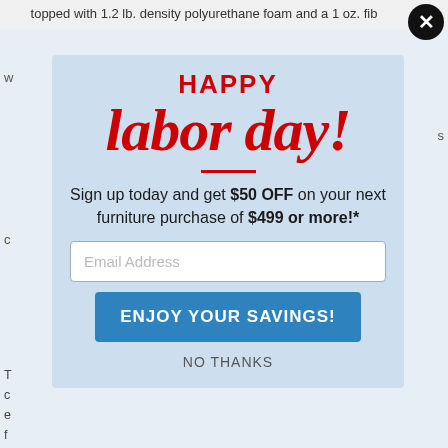topped with 1.2 lb. density polyurethane foam and a 1 oz. fib
[Figure (screenshot): Happy Labor Day promotional popup modal with red script text, email signup field, and blue savings button on a light blue background with city skyline]
HAPPY
labor day!
Sign up today and get $50 OFF on your next furniture purchase of $499 or more!*
Email Address
ENJOY YOUR SAVINGS!
NO THANKS